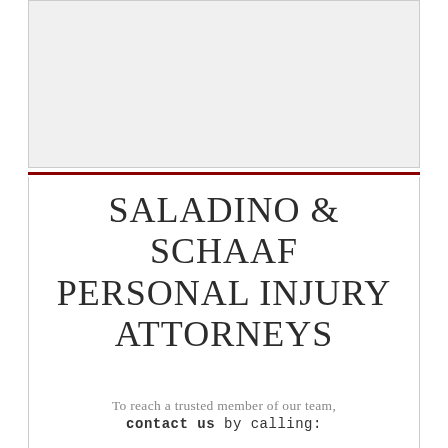[Figure (photo): Placeholder image area (gray rectangle) representing a photo or logo at the top of the page]
SALADINO & SCHAAF PERSONAL INJURY ATTORNEYS
To reach a trusted member of our team, contact us by calling: